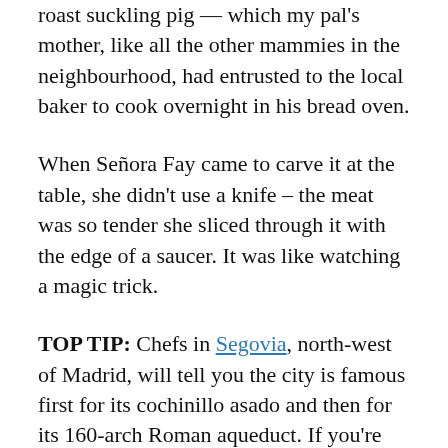roast suckling pig — which my pal's mother, like all the other mammies in the neighbourhood, had entrusted to the local baker to cook overnight in his bread oven.
When Señora Fay came to carve it at the table, she didn't use a knife – the meat was so tender she sliced through it with the edge of a saucer. It was like watching a magic trick.
TOP TIP: Chefs in Segovia, north-west of Madrid, will tell you the city is famous first for its cochinillo asado and then for its 160-arch Roman aqueduct. If you're spending some time in Madrid, take a half-day excursion to Segovia (high-speed train from Chamartin station, 30 minutes, renfe.com, then hop on the local bus